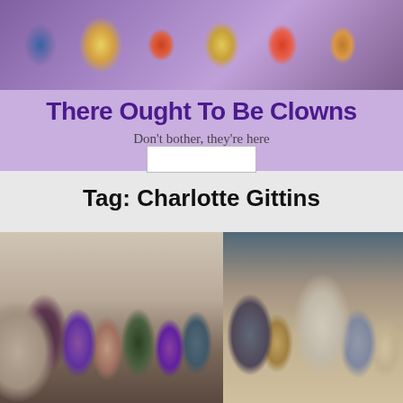[Figure (photo): Banner photo of colorful clown masks/faces]
There Ought To Be Clowns
Don't bother, they're here
Tag: Charlotte Gittins
[Figure (photo): Group of people in period costume on a plain background, theatrical cast photo]
[Figure (photo): Group of people in period costume outside a grand building, theatrical cast photo]